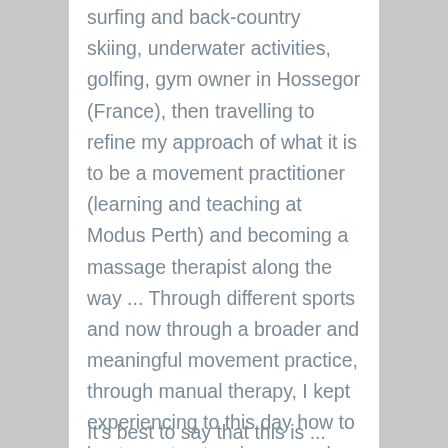surfing and back-country skiing, underwater activities, golfing, gym owner in Hossegor (France), then travelling to refine my approach of what it is to be a movement practitioner (learning and teaching at Modus Perth) and becoming a massage therapist along the way ... Through different sports and now through a broader and meaningful movement practice, through manual therapy, I kept experiencing to this day how to best construct a sincere and enjoyable relationship within the trinity mind-body-environment.
It's best to say that this is ...